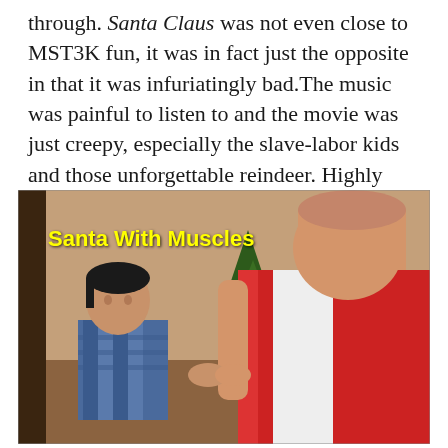through. Santa Claus was not even close to MST3K fun, it was in fact just the opposite in that it was infuriatingly bad.The music was painful to listen to and the movie was just creepy, especially the slave-labor kids and those unforgettable reindeer. Highly recommended if you are a pervert.
[Figure (photo): Movie screenshot from 'Santa With Muscles' showing a large muscular man in a red and white sleeveless top facing away from the camera, and a young person facing him, with a Christmas tree visible in the background. Yellow bold text overlay reads 'Santa With Muscles'.]